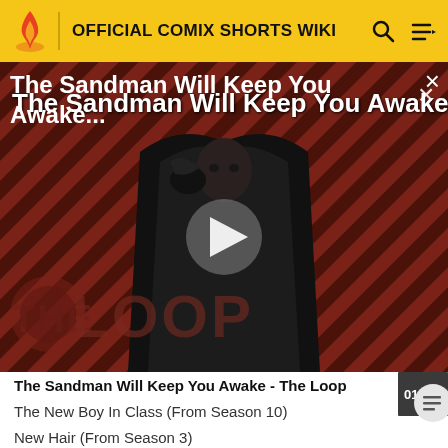OFFICIAL COMIX SHORTS WIKI
[Figure (screenshot): Video thumbnail showing a dark-cloaked figure (The Sandman) against a red and black diagonal stripe background with 'THE LOOP' watermark. A play button triangle is shown in the center.]
The Sandman Will Keep You Awake...
The Sandman Will Keep You Awake - The Loop
The New Boy In Class (From Season 10)
New Hair (From Season 3)